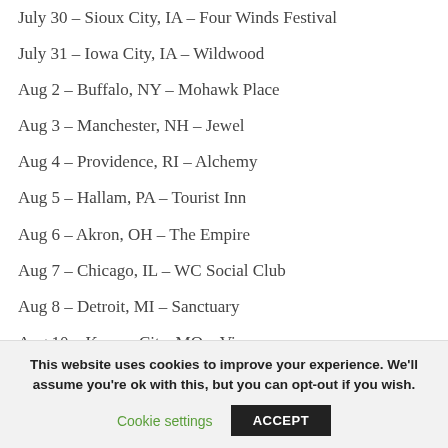July 30 – Sioux City, IA – Four Winds Festival
July 31 – Iowa City, IA – Wildwood
Aug 2 – Buffalo, NY – Mohawk Place
Aug 3 – Manchester, NH – Jewel
Aug 4 – Providence, RI – Alchemy
Aug 5 – Hallam, PA – Tourist Inn
Aug 6 – Akron, OH – The Empire
Aug 7 – Chicago, IL – WC Social Club
Aug 8 – Detroit, MI – Sanctuary
Aug 10 – Kansas City, MO – Vivo
This website uses cookies to improve your experience. We'll assume you're ok with this, but you can opt-out if you wish.
Cookie settings  ACCEPT